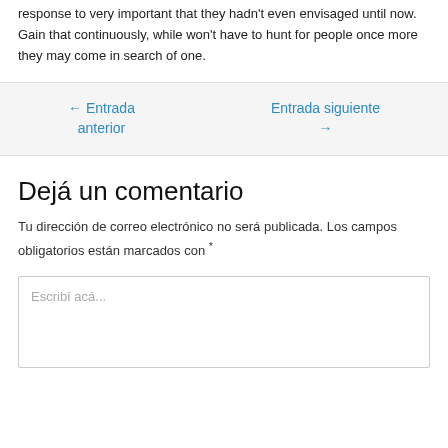response to very important that they hadn't even envisaged until now. Gain that continuously, while won't have to hunt for people once more they may come in search of one.
← Entrada anterior
Entrada siguiente →
Dejá un comentario
Tu dirección de correo electrónico no será publicada. Los campos obligatorios están marcados con *
Escribí acá...